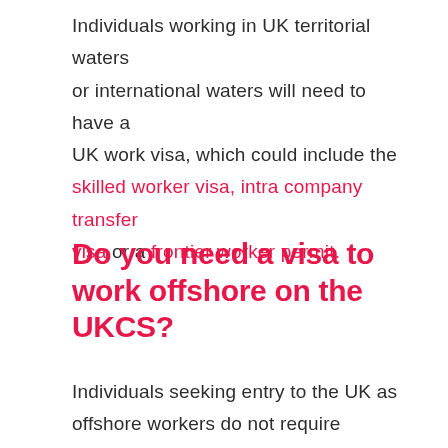Individuals working in UK territorial waters or international waters will need to have a UK work visa, which could include the skilled worker visa, intra company transfer visa or a frontier worker permit.
Do you need a visa to work offshore on the UKCS?
Individuals seeking entry to the UK as offshore workers do not require